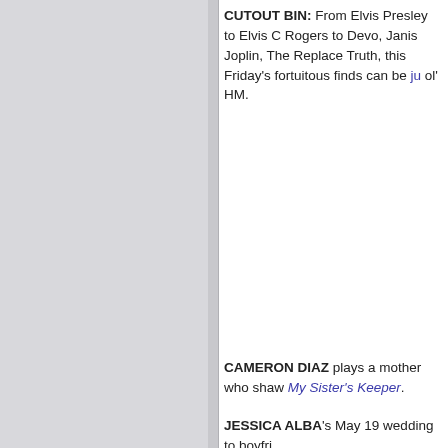CUTOUT BIN: From Elvis Presley to Elvis C Rogers to Devo, Janis Joplin, The Replace Truth, this Friday's fortuitous finds can be ju ol' HM.
CAMERON DIAZ plays a mother who shaw My Sister's Keeper.
JESSICA ALBA's May 19 wedding to boyfri